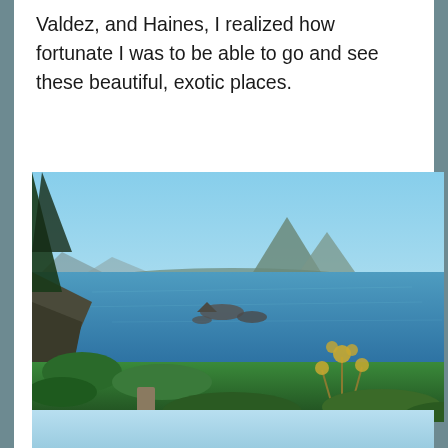Valdez, and Haines, I realized how fortunate I was to be able to go and see these beautiful, exotic places.
[Figure (photo): Scenic coastal view from Fort Abercrombie on Kodiak Island, Alaska. Shows a blue bay with rocky outcroppings, conical mountain in background, clear blue sky, and lush green vegetation with yellow wildflowers in the foreground.]
View from Fort Abercrombie on Kodiak Island. You might guess it was Hawaii.
[Figure (photo): Partial view of another scenic Alaska photo, showing light blue sky and water at the bottom of the page.]